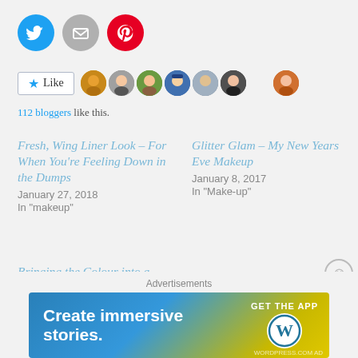[Figure (other): Social sharing icons: Twitter (blue circle), Email (grey circle), Pinterest (red circle)]
[Figure (other): Like button with star icon and a row of blogger avatar photos. Text: 112 bloggers like this.]
112 bloggers like this.
Fresh, Wing Liner Look – For When You're Feeling Down in the Dumps
January 27, 2018
In "makeup"
Glitter Glam – My New Years Eve Makeup
January 8, 2017
In "Make-up"
Bringing the Colour into a Smoky Eye
March 7, 2018
In "makeup"
Advertisements
[Figure (other): WordPress advertisement banner: 'Create immersive stories. GET THE APP' with WordPress logo on a blue-to-yellow gradient background.]